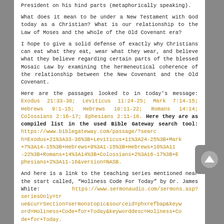President on his hind parts (metaphorically speaking).
What does it mean to be under a New Testament with God today as a Christian? What is our relationship to the Law of Moses and the whole of the Old Covenant era?
I hope to give a solid defense of exactly why Christians can eat what they eat, wear what they wear, and believe what they believe regarding certain parts of the blessed Mosaic Law by examining the hermeneutical coherence of the relationship between the New Covenant and the Old Covenant.
Here are the passages looked to in today's message: Exodus 21:33-36; Leviticus 11:24-25; Mark 7:14-15; Hebrews 9:1-15; Hebrews 10:11-22; Romans 14:14; Colossians 2:16-17; Ephesians 2:11-16. Here they are as compiled list in the used Bible Gateway search tool: https://www.biblegateway.com/passage/?search=Exodus+21%3A33-36%3B+Leviticus+11%3A24-25%3B+Mark+7%3A14-15%3B+Hebrews+9%3A1-15%3B+Hebrews+10%3A11-22%3B+Romans+14%3A14%3B+Colossians+2%3A16-17%3B+Ephesians+2%3A11-16&version=NASB.
And here is a link to the teaching series mentioned near the start called, “Holiness Code For Today” by Dr. James White: https://www.sermonaudio.com/sermons.asp?seriesOnly=true&currSection=sermonstopic&sourceid=phxrefbap&keyword=Holiness+Code+for+Today&keyworddesc=Holiness+Code+de+for+Today.